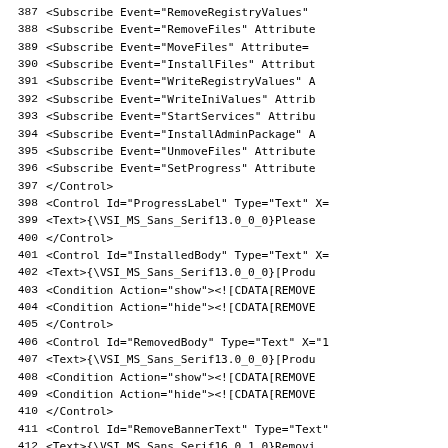387    <Subscribe Event="RemoveRegistryValues"
388    <Subscribe Event="RemoveFiles" Attribute
389    <Subscribe Event="MoveFiles" Attribute=
390    <Subscribe Event="InstallFiles" Attribut
391    <Subscribe Event="WriteRegistryValues" A
392    <Subscribe Event="WriteIniValues" Attrib
393    <Subscribe Event="StartServices" Attribu
394    <Subscribe Event="InstallAdminPackage" A
395    <Subscribe Event="UnmoveFiles" Attribute
396    <Subscribe Event="SetProgress" Attribute
397    </Control>
398    <Control Id="ProgressLabel" Type="Text" X=
399      <Text>{\VSI_MS_Sans_Serif13.0_0_0}Please
400    </Control>
401    <Control Id="InstalledBody" Type="Text" X=
402      <Text>{\VSI_MS_Sans_Serif13.0_0_0}[Produ
403      <Condition Action="show"><![CDATA[REMOVE
404      <Condition Action="hide"><![CDATA[REMOVE
405    </Control>
406    <Control Id="RemovedBody" Type="Text" X="1
407      <Text>{\VSI_MS_Sans_Serif13.0_0_0}[Produ
408      <Condition Action="show"><![CDATA[REMOVE
409      <Condition Action="hide"><![CDATA[REMOVE
410    </Control>
411    <Control Id="RemoveBannerText" Type="Text"
412      <Text>{\VSI_MS_Sans_Serif16.0_1_0}Removi
413      <Condition Action="show"><![CDATA[REMOVE